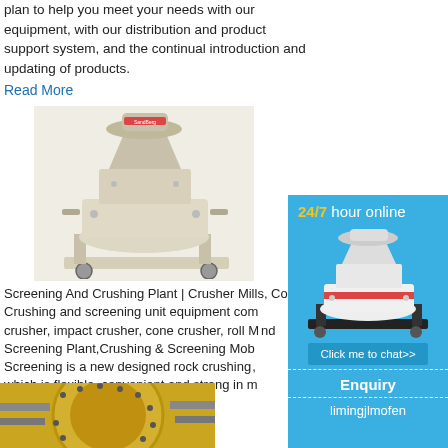plan to help you meet your needs with our equipment, with our distribution and product support system, and the continual introduction and updating of products.
Read More
[Figure (photo): Industrial cone crusher machine, beige/cream colored, on wheeled frame]
Screening And Crushing Plant | Crusher Mills, Co... Crushing and screening unit equipment com... crusher, impact crusher, cone crusher, roll M... nd Screening Plant,Crushing & Screening Mob... Screening is a new designed rock crushing... which is flexible, convenient and strong in m...
Read More
[Figure (photo): Yellow industrial rotating drum or mill equipment in a plant facility]
[Figure (infographic): Chat widget sidebar: 24/7 hour online, image of cone crusher, Click me to chat>> button, Enquiry section, limingjlmofen text]